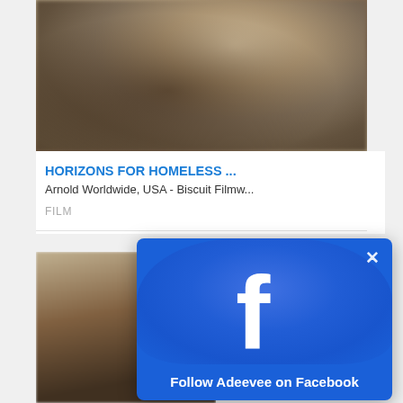[Figure (photo): Blurred sepia-tone close-up photograph, appears to show abstract shapes or a face in soft focus]
HORIZONS FOR HOMELESS ...
Arnold Worldwide, USA - Biscuit Filmw...
FILM
[Figure (photo): Partial blurred dark photograph, partially obscured by Facebook popup overlay]
[Figure (screenshot): Facebook follow popup overlay with blue background, Facebook 'f' logo, X close button, and text 'Follow Adeevee on Facebook']
Follow Adeevee on Facebook